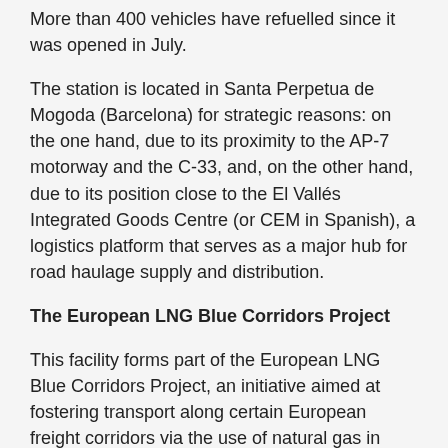More than 400 vehicles have refuelled since it was opened in July.
The station is located in Santa Perpetua de Mogoda (Barcelona) for strategic reasons: on the one hand, due to its proximity to the AP-7 motorway and the C-33, and, on the other hand, due to its position close to the El Vallés Integrated Goods Centre (or CEM in Spanish), a logistics platform that serves as a major hub for road haulage supply and distribution.
The European LNG Blue Corridors Project
This facility forms part of the European LNG Blue Corridors Project, an initiative aimed at fostering transport along certain European freight corridors via the use of natural gas in freight transport vehicles. 27 companies and associations from 11 different countries are involved in the initiative.
The project seeks to consolidate industrial knowledge and bring together the stakeholders involved in the development of natural gas vehicles and liquefied natural gas (LNG) infrastructures with